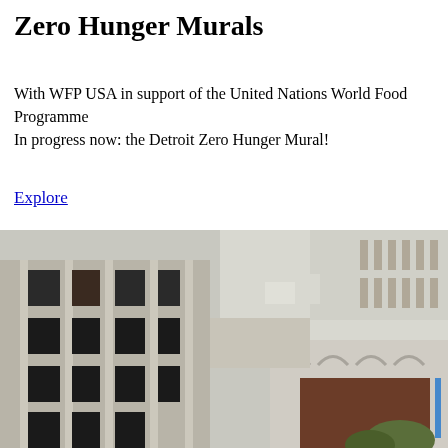Zero Hunger Murals
With WFP USA in support of the United Nations World Food Programme
In progress now: the Detroit Zero Hunger Mural!
Explore
[Figure (photo): Aerial/elevated view of a Detroit urban cityscape showing a multi-story beige/concrete building with large windows in the foreground, and adjacent buildings including one with arched windows in the background. Rooftops with HVAC equipment visible.]